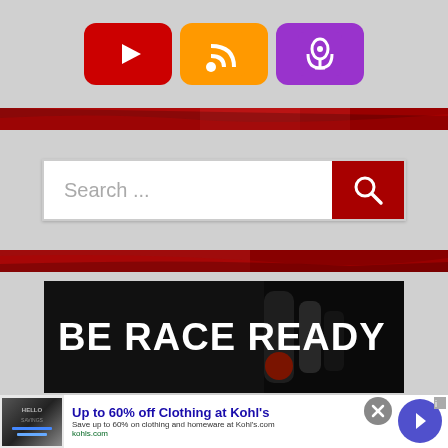[Figure (screenshot): Social media icons: YouTube (red), RSS (orange), Podcast (purple) on gray background]
[Figure (screenshot): Red textured divider banner]
[Figure (screenshot): Search bar with search input field and red search button with magnifier icon]
[Figure (screenshot): Second red textured divider banner]
[Figure (screenshot): BE RACE READY advertisement banner image on black background]
[Figure (screenshot): Advertisement banner: Up to 60% off Clothing at Kohl's, Save up to 60% on clothing and homeware at Kohl's.com, kohls.com]